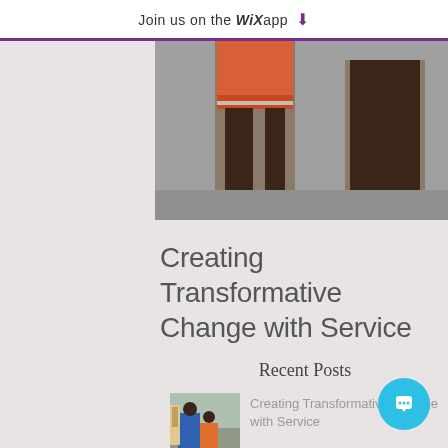Join us on the WiX app ↓
[Figure (photo): Cropped photo showing lower bodies of people standing, one wearing pink/orange shorts with stripe detail and another wearing sandals, on a concrete surface.]
Creating Transformative Change with Service
Recent Posts
[Figure (photo): Small thumbnail photo showing people outdoors, one wearing a blue jacket and another in orange pants, appearing to be doing community service.]
Creating Transformative Change with Service